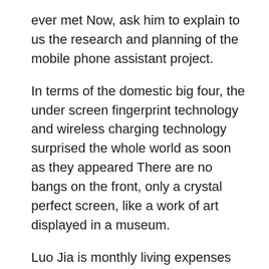ever met Now, ask him to explain to us the research and planning of the mobile phone assistant project.
In terms of the domestic big four, the under screen fingerprint technology and wireless charging technology surprised the whole world as soon as they appeared There are no bangs on the front, only a crystal perfect screen, like a work of art displayed in a museum.
Luo Jia is monthly living expenses are 2,000 yuan.When the semester starts, his family will give him about 8,000 yuan at best herbal male enhancement a time.It is almost April now, daily male enhancement pills and Luo Jia is Alipay has less than 5,000 left.Apart from renting servers, male impotence pills he has to live on, which is definitely not enough.Boss, money is a little tight recently, please lend me some money.After finding a chance, Luo Jia said cheekily to Jiang Lei.The windy Inner Mongolian daily male enhancement pills man cast a glance at